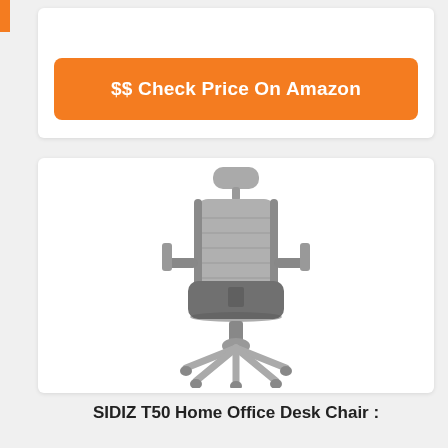$$ Check Price On Amazon
[Figure (photo): Gray ergonomic office desk chair with mesh back, adjustable armrests, headrest, and five-star wheeled base — SIDIZ T50 model]
SIDIZ T50 Home Office Desk Chair :